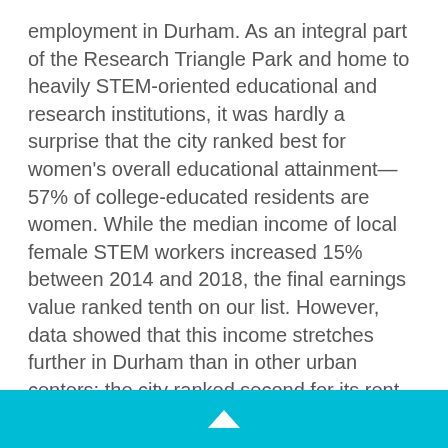employment in Durham. As an integral part of the Research Triangle Park and home to heavily STEM-oriented educational and research institutions, it was hardly a surprise that the city ranked best for women's overall educational attainment—57% of college-educated residents are women. While the median income of local female STEM workers increased 15% between 2014 and 2018, the final earnings value ranked tenth on our list. However, data showed that this income stretches further in Durham than in other urban centers; the city ranked second for its rent-to-median-income ratio, with the local average rent accounting for 21% of the median earnings of women working in STEM.
▲